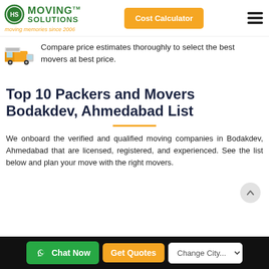Moving Solutions - moving memories since 2006 | Cost Calculator
Compare price estimates thoroughly to select the best movers at best price.
Top 10 Packers and Movers Bodakdev, Ahmedabad List
We onboard the verified and qualified moving companies in Bodakdev, Ahmedabad that are licensed, registered, and experienced. See the list below and plan your move with the right movers.
Chat Now | Get Quotes | Change City...